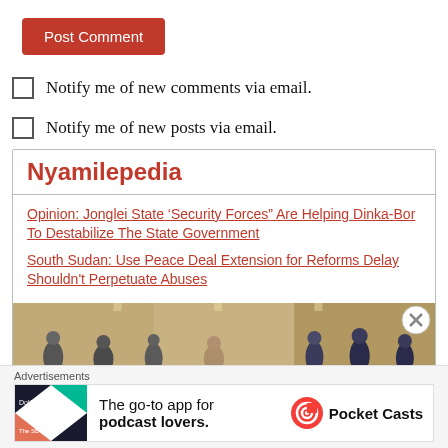Post Comment
Notify me of new comments via email.
Notify me of new posts via email.
Nyamilepedia
Opinion: Jonglei State ‘Security Forces” Are Helping Dinka-Bor To Destabilize The State Government
South Sudan: Use Peace Deal Extension for Reforms Delay Shouldn't Perpetuate Abuses
[Figure (photo): Meeting/conference room photo showing people in suits]
Advertisements
[Figure (infographic): Pocket Casts advertisement: The go-to app for podcast lovers.]